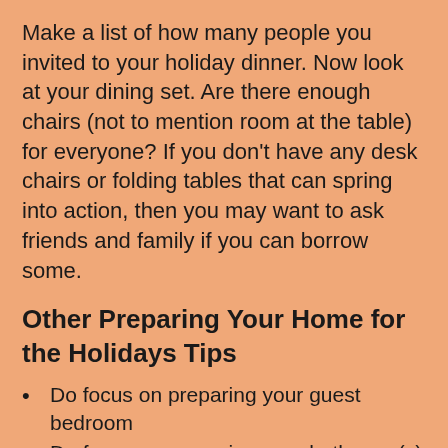Make a list of how many people you invited to your holiday dinner. Now look at your dining set. Are there enough chairs (not to mention room at the table) for everyone? If you don't have any desk chairs or folding tables that can spring into action, then you may want to ask friends and family if you can borrow some.
Other Preparing Your Home for the Holidays Tips
Do focus on preparing your guest bedroom
Do focus on preparing your bathroom(s)
Do focus on cleaning your ceramic flooring
Do focus on the tiny little details and touches